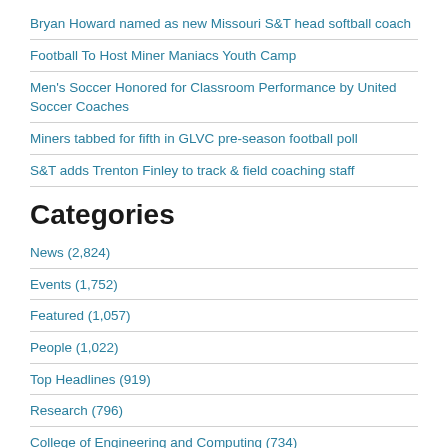Bryan Howard named as new Missouri S&T head softball coach
Football To Host Miner Maniacs Youth Camp
Men's Soccer Honored for Classroom Performance by United Soccer Coaches
Miners tabbed for fifth in GLVC pre-season football poll
S&T adds Trenton Finley to track & field coaching staff
Categories
News (2,824)
Events (1,752)
Featured (1,057)
People (1,022)
Top Headlines (919)
Research (796)
College of Engineering and Computing (734)
College of Arts, Sciences, and Business (679)